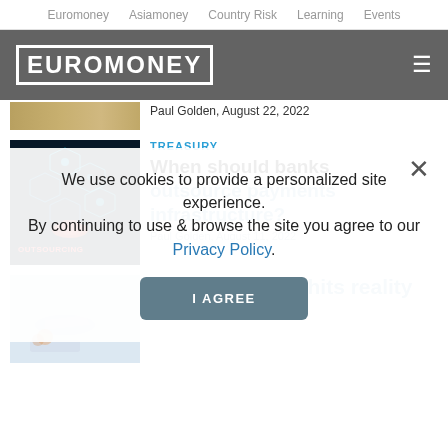Euromoney  Asiamoney  Country Risk  Learning  Events
[Figure (logo): Euromoney logo in white block letters on grey header bar]
[Figure (photo): Partial view of coins image at top]
Paul Golden, August 22, 2022
[Figure (photo): Outsourcing technology concept image with hexagonal icons and blue digital background]
TREASURY
When should banks outsource payments infrastructure?
Paul Golden, August 11, 2022
[Figure (photo): Trade finance illustration with airplane and shipping elements on light blue background]
How revolution hits reality of trade finance
We use cookies to provide a personalized site experience.
By continuing to use & browse the site you agree to our Privacy Policy.
I AGREE